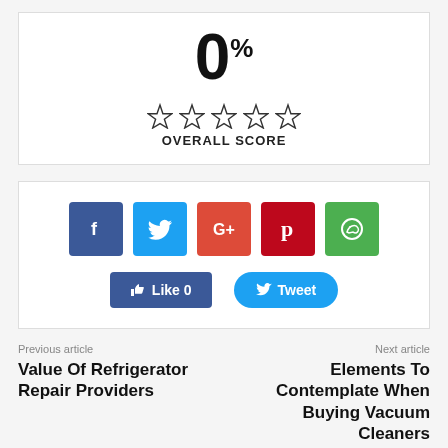0%
OVERALL SCORE
[Figure (infographic): Social media share buttons: Facebook (blue), Twitter (cyan), Google+ (red-orange), Pinterest (dark red), WhatsApp (green), plus Like 0 button and Tweet button]
Previous article
Value Of Refrigerator Repair Providers
Next article
Elements To Contemplate When Buying Vacuum Cleaners